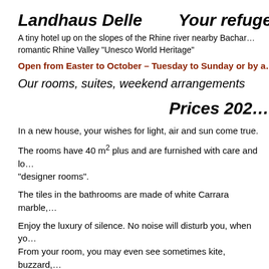Landhaus Delle    Your refuge for…
A tiny hotel up on the slopes of the Rhine river nearby Bachar… romantic Rhine Valley "Unesco World Heritage"
Open from Easter to October – Tuesday to Sunday or by a…
Our rooms, suites, weekend arrangements
Prices 202…
In a new house, your wishes for light, air and sun come true.
The rooms have 40 m² plus and are furnished with care and lo… "designer rooms".
The tiles in the bathrooms are made of white Carrara marble,…
Enjoy the luxury of silence. No noise will disturb you, when yo… From your room, you may even see sometimes kite, buzzard,… roof.
There are beds for maximum 15 guests.